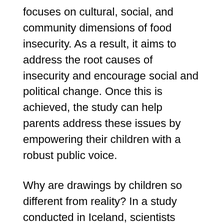focuses on cultural, social, and community dimensions of food insecurity. As a result, it aims to address the root causes of insecurity and encourage social and political change. Once this is achieved, the study can help parents address these issues by empowering their children with a robust public voice.
Why are drawings by children so different from reality? In a study conducted in Iceland, scientists looked at the differences in drawing abilities between preschoolers and school children. The children who were not as good at drawing were likely to be bored or to have avoided the classroom because they felt they were missing out on other activities. Some preschoolers may have